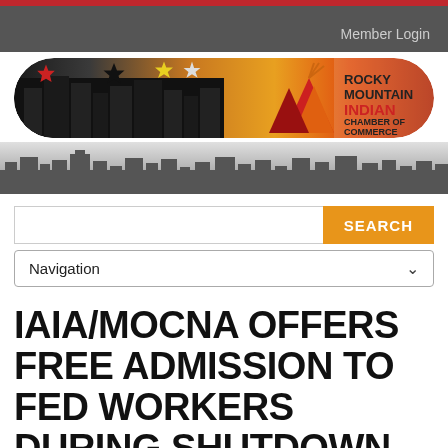Member Login
[Figure (logo): Rocky Mountain Indian Chamber of Commerce logo with city skyline and tepees on gradient background]
[Figure (photo): Grayscale city skyline panorama banner]
SEARCH
Navigation
IAIA/MOCNA OFFERS FREE ADMISSION TO FED WORKERS DURING SHUTDOWN